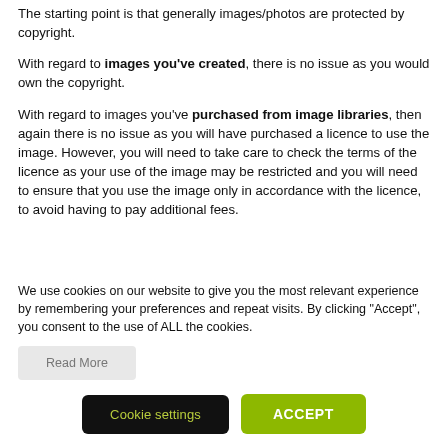The starting point is that generally images/photos are protected by copyright.
With regard to images you've created, there is no issue as you would own the copyright.
With regard to images you've purchased from image libraries, then again there is no issue as you will have purchased a licence to use the image. However, you will need to take care to check the terms of the licence as your use of the image may be restricted and you will need to ensure that you use the image only in accordance with the licence, to avoid having to pay additional fees.
We use cookies on our website to give you the most relevant experience by remembering your preferences and repeat visits. By clicking "Accept", you consent to the use of ALL the cookies.
Read More
Cookie settings
ACCEPT